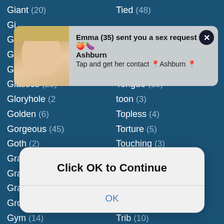Giant (20)
Tied (48)
Gi...
Gi...
Gi...
Glamour (2)
Toilet (8)
Glasses (23)
Tongue (10)
Gloryhole (...)
Toon (...)
Golden (6)
Topless (...)
Gorgeous (...)
Torture (...)
Goth (2)
Touching (...)
Grandma (...)
Toys (115)
Grandpa (13)
Train (51)
Granny (197)
Tranny (23)
Group (392)
Transvestite (0)
Gym (14)
Trib (10)
Hairy (406)
Trimmed (8)
Handjob (510)
Triple (5)
[Figure (screenshot): Notification popup showing woman photo and message: Emma (35) sent you a sex request Ashburn. Tap and get her contact Ashburn.]
[Figure (screenshot): Dialog box with text 'Click OK to Continue' and an OK button.]